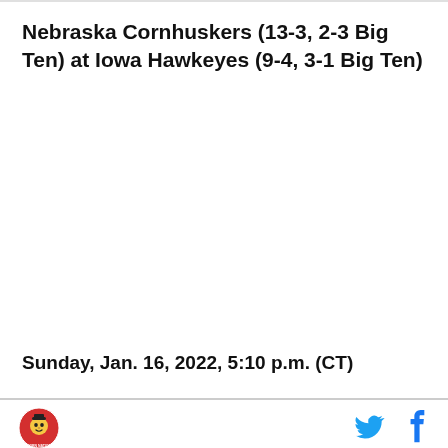Nebraska Cornhuskers (13-3, 2-3 Big Ten) at Iowa Hawkeyes (9-4, 3-1 Big Ten)
Sunday, Jan. 16, 2022, 5:10 p.m. (CT)
[Figure (logo): Nebraska Cornhuskers logo - red circular badge with mascot]
[Figure (logo): Twitter bird icon in blue]
[Figure (logo): Facebook f icon in blue]